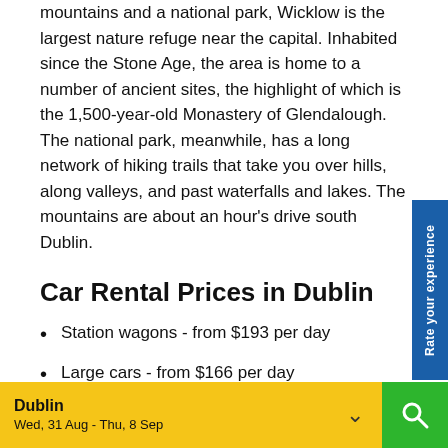mountains and a national park, Wicklow is the largest nature refuge near the capital. Inhabited since the Stone Age, the area is home to a number of ancient sites, the highlight of which is the 1,500-year-old Monastery of Glendalough. The national park, meanwhile, has a long network of hiking trails that take you over hills, along valleys, and past waterfalls and lakes. The mountains are about an hour's drive south Dublin.
Car Rental Prices in Dublin
Station wagons - from $193 per day
Large cars - from $166 per day
Medium cars - from $136 per day
Dublin Wed, 31 Aug - Thu, 8 Sep